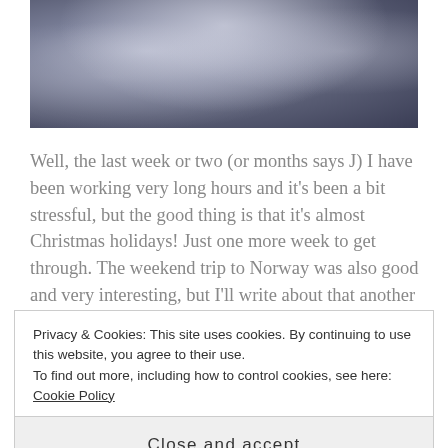[Figure (photo): Frost-covered tree branches or foliage, bluish-purple winter scene]
Well, the last week or two (or months says J) I have been working very long hours and it's been a bit stressful, but the good thing is that it's almost Christmas holidays! Just one more week to get through. The weekend trip to Norway was also good and very interesting, but I'll write about that another time.
In between all the work, here were a few of the good moments:
Privacy & Cookies: This site uses cookies. By continuing to use this website, you agree to their use.
To find out more, including how to control cookies, see here: Cookie Policy
Close and accept
assemble the paper Betlem (nativity scene) we bought